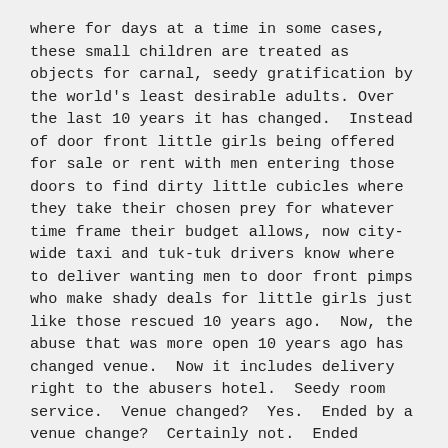where for days at a time in some cases, these small children are treated as objects for carnal, seedy gratification by the world's least desirable adults. Over the last 10 years it has changed. Instead of door front little girls being offered for sale or rent with men entering those doors to find dirty little cubicles where they take their chosen prey for whatever time frame their budget allows, now city-wide taxi and tuk-tuk drivers know where to deliver wanting men to door front pimps who make shady deals for little girls just like those rescued 10 years ago. Now, the abuse that was more open 10 years ago has changed venue. Now it includes delivery right to the abusers hotel. Seedy room service. Venue changed? Yes. Ended by a venue change? Certainly not. Ended because it is now “illegal”? No. Still occurs, like the CNN video (on YouTube) shows, “Every day in Cambodia.”
I wonder what it takes?